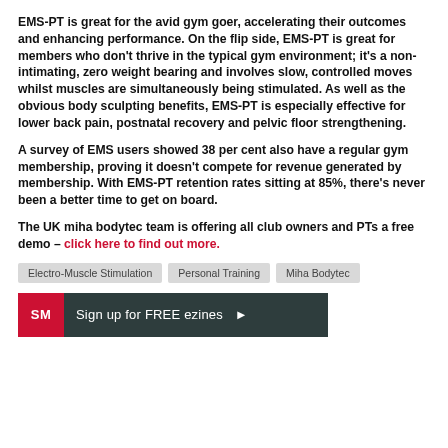EMS-PT is great for the avid gym goer, accelerating their outcomes and enhancing performance. On the flip side, EMS-PT is great for members who don't thrive in the typical gym environment; it's a non-intimating, zero weight bearing and involves slow, controlled moves whilst muscles are simultaneously being stimulated. As well as the obvious body sculpting benefits, EMS-PT is especially effective for lower back pain, postnatal recovery and pelvic floor strengthening.
A survey of EMS users showed 38 per cent also have a regular gym membership, proving it doesn't compete for revenue generated by membership. With EMS-PT retention rates sitting at 85%, there's never been a better time to get on board.
The UK miha bodytec team is offering all club owners and PTs a free demo – click here to find out more.
Electro-Muscle Stimulation
Personal Training
Miha Bodytec
SM Sign up for FREE ezines ▶